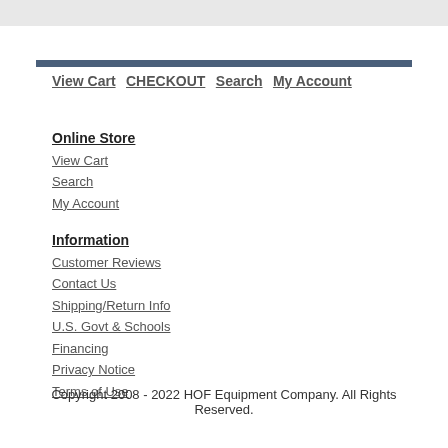View Cart  CHECKOUT  Search  My Account
Online Store
View Cart
Search
My Account
Information
Customer Reviews
Contact Us
Shipping/Return Info
U.S. Govt & Schools
Financing
Privacy Notice
Terms of Use
Copyright 2008 - 2022 HOF Equipment Company. All Rights Reserved.